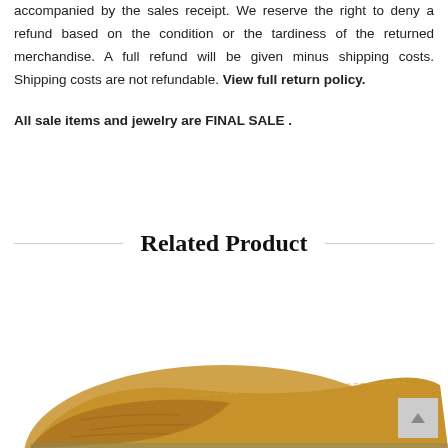accompanied by the sales receipt. We reserve the right to deny a refund based on the condition or the tardiness of the returned merchandise. A full refund will be given minus shipping costs. Shipping costs are not refundable. View full return policy.
All sale items and jewelry are FINAL SALE .
Related Product
[Figure (photo): Partial view of a tan/camel colored shoe or sandal, cropped at the bottom of the page]